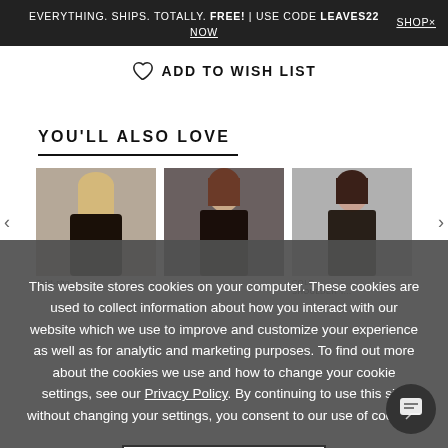EVERYTHING. SHIPS. TOTALLY. FREE! | USE CODE LEAVES22   SHOP×
NOW
♡ ADD TO WISH LIST
YOU'LL ALSO LOVE
[Figure (photo): Three product photos of women wearing dark cold-shoulder or patterned tops, side by side in a carousel. Labels below read 'Cold-shoulder' and 'COLD SHOULDER T'.]
This website stores cookies on your computer. These cookies are used to collect information about how you interact with our website which we use to improve and customize your experience as well as for analytic and marketing purposes. To find out more about the cookies we use and how to change your cookie settings, see our Privacy Policy. By continuing to use this site without changing your settings, you consent to our use of cookies.
I AGREE